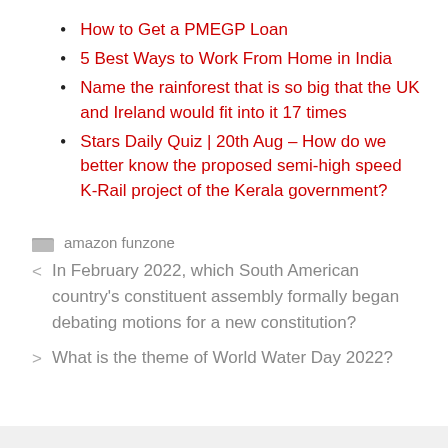How to Get a PMEGP Loan
5 Best Ways to Work From Home in India
Name the rainforest that is so big that the UK and Ireland would fit into it 17 times
Stars Daily Quiz | 20th Aug – How do we better know the proposed semi-high speed K-Rail project of the Kerala government?
amazon funzone
< In February 2022, which South American country's constituent assembly formally began debating motions for a new constitution?
> What is the theme of World Water Day 2022?